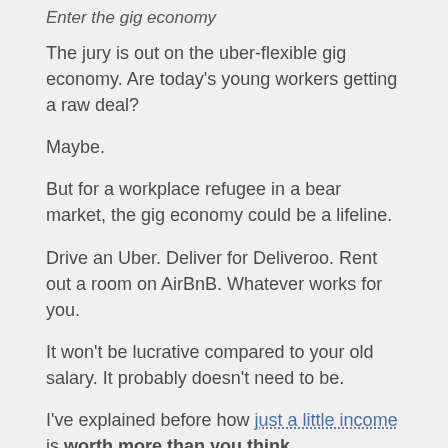Enter the gig economy
The jury is out on the uber-flexible gig economy. Are today's young workers getting a raw deal?
Maybe.
But for a workplace refugee in a bear market, the gig economy could be a lifeline.
Drive an Uber. Deliver for Deliveroo. Rent out a room on AirBnB. Whatever works for you.
It won't be lucrative compared to your old salary. It probably doesn't need to be.
I've explained before how just a little income is worth more than you think.